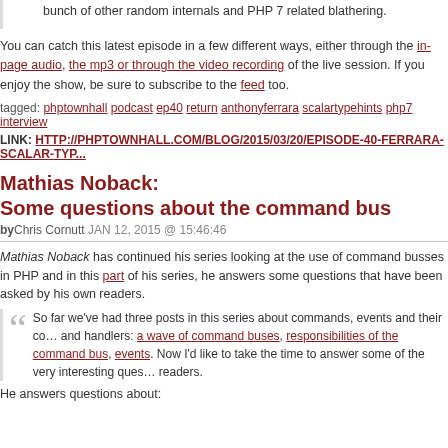bunch of other random internals and PHP 7 related blathering.
You can catch this latest episode in a few different ways, either through the in-page audio, the mp3 or through the video recording of the live session. If you enjoy the show, be sure to subscribe to the feed too.
tagged: phptownhall podcast ep40 return anthonyferrara scalartypehints php7 interview
LINK: HTTP://PHPTOWNHALL.COM/BLOG/2015/03/20/EPISODE-40-FERRARA-SCALAR-TYP...
Mathias Noback:
Some questions about the command bus
byChris Cornutt JAN 12, 2015 @ 15:46:46
Mathias Noback has continued his series looking at the use of command busses in PHP and in this part of his series, he answers some questions that have been asked by his own readers.
So far we've had three posts in this series about commands, events and their containers and handlers: a wave of command buses, responsibilities of the command bus, events. Now I'd like to take the time to answer some of the very interesting questions from his readers.
He answers questions about: